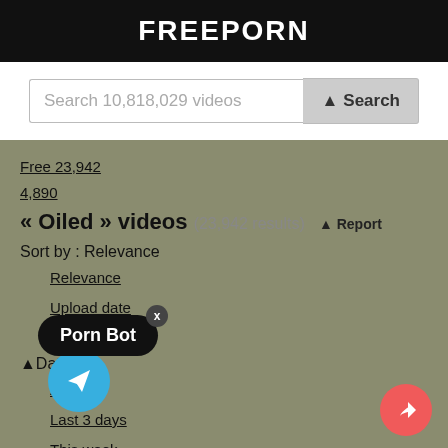FREEPORN
Search 10,818,029 videos
Free 23,942
4,890
« Oiled » videos (23,942 results)
Sort by : Relevance
Relevance
Upload date
Rating
Date
Any...
Last 3 days
This week
This month
Last 3 months
Last 6 months
Duration